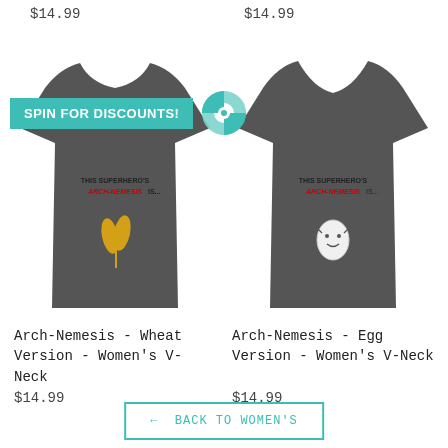$14.99
$14.99
[Figure (photo): Gray women's v-neck t-shirt with 'This Superhero's Arch-Nemesis is...' text and wheat graphic. Has a teal 'Spin For Discounts!' banner overlay with spinning wheel icon.]
[Figure (photo): Gray women's v-neck t-shirt with 'This Superhero's Arch-Nemesis is...' text and egg character graphic.]
Arch-Nemesis - Wheat Version - Women's V-Neck
$14.99
Arch-Nemesis - Egg Version - Women's V-Neck
$14.99
← BACK TO WOMEN'S